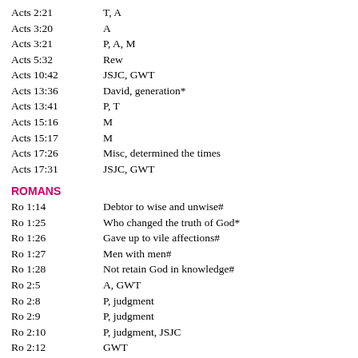Acts 2:21 | T, A
Acts 3:20 | A
Acts 3:21 | P, A, M
Acts 5:32 | Rew
Acts 10:42 | JSJC, GWT
Acts 13:36 | David, generation*
Acts 13:41 | P, T
Acts 15:16 | M
Acts 15:17 | M
Acts 17:26 | Misc, determined the times
Acts 17:31 | JSJC, GWT
ROMANS
Ro 1:14 | Debtor to wise and unwise#
Ro 1:25 | Who changed the truth of God*
Ro 1:26 | Gave up to vile affections#
Ro 1:27 | Men with men#
Ro 1:28 | Not retain God in knowledge#
Ro 2:5 | A, GWT
Ro 2:8 | P, judgment
Ro 2:9 | P, judgment
Ro 2:10 | P, judgment, JSJC
Ro 2:12 | GWT
Ro 2:13 | GWT
Ro 2:14 | GWT
Ro 2:15 | GWT
Ro 2:16 | JSJC, GWT
Ro 3:1 | What advantage hath the Jew?#